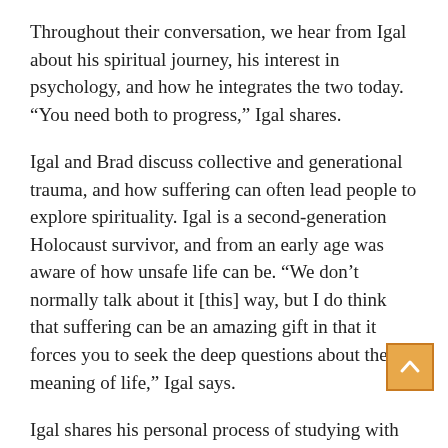Throughout their conversation, we hear from Igal about his spiritual journey, his interest in psychology, and how he integrates the two today. “You need both to progress,” Igal shares.
Igal and Brad discuss collective and generational trauma, and how suffering can often lead people to explore spirituality. Igal is a second-generation Holocaust survivor, and from an early age was aware of how unsafe life can be. “We don’t normally talk about it [this] way, but I do think that suffering can be an amazing gift in that it forces you to seek the deep questions about the meaning of life,” Igal says.
Igal shares his personal process of studying with gifted spiritual teachers for many decades but finding that psychological understanding was often lacking.
[Figure (other): Scroll-to-top button: orange/amber square with a white upward-pointing arrow icon]